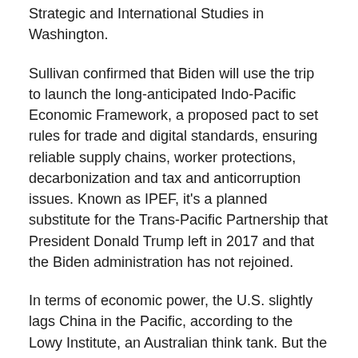Strategic and International Studies in Washington.
Sullivan confirmed that Biden will use the trip to launch the long-anticipated Indo-Pacific Economic Framework, a proposed pact to set rules for trade and digital standards, ensuring reliable supply chains, worker protections, decarbonization and tax and anticorruption issues. Known as IPEF, it's a planned substitute for the Trans-Pacific Partnership that President Donald Trump left in 2017 and that the Biden administration has not rejoined.
In terms of economic power, the U.S. slightly lags China in the Pacific, according to the Lowy Institute, an Australian think tank. But the institute's analysis shows the possibility that a trade pact could magnify the combined power of the U.S. and its allies relative to China. Biden's challenge is that IPEF would not necessarily cut tariff rates or give allied signatories greater access to U.S. markets,